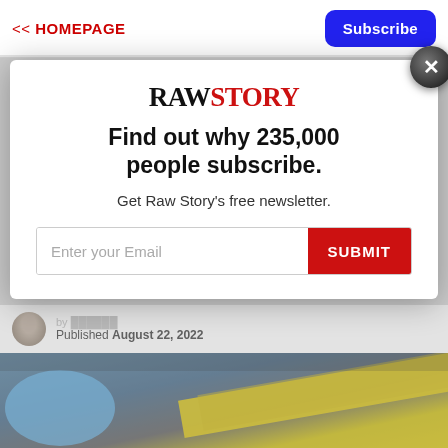<< HOMEPAGE   Subscribe
[Figure (screenshot): Raw Story website screenshot showing modal newsletter subscribe popup over article page. Bottom shows author avatar, published date August 22, 2022, and crime scene tape photo.]
RAWSTORY
Find out why 235,000 people subscribe.
Get Raw Story's free newsletter.
Enter your Email   SUBMIT
Published August 22, 2022